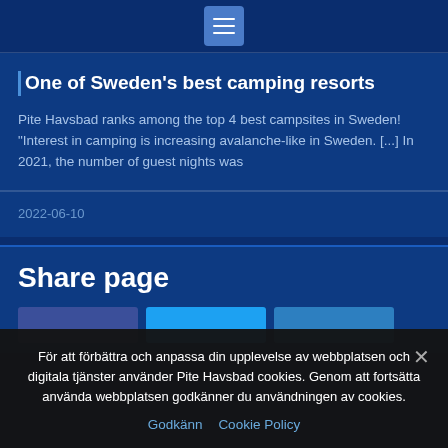[menu icon]
One of Sweden's best camping resorts
Pite Havsbad ranks among the top 4 best campsites in Sweden! "Interest in camping is increasing avalanche-like in Sweden. [...] In 2021, the number of guest nights was
2022-06-10
Share page
För att förbättra och anpassa din upplevelse av webbplatsen och digitala tjänster använder Pite Havsbad cookies. Genom att fortsätta använda webbplatsen godkänner du användningen av cookies.
Godkänn  Cookie Policy